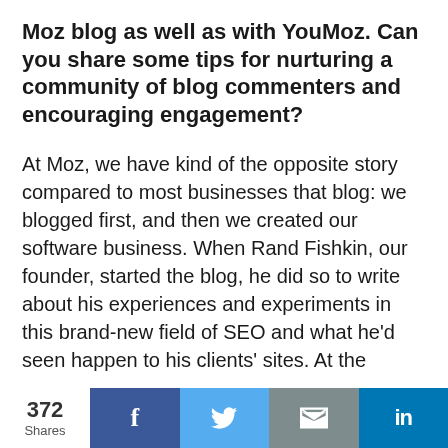Moz blog as well as with YouMoz. Can you share some tips for nurturing a community of blog commenters and encouraging engagement?
At Moz, we have kind of the opposite story compared to most businesses that blog: we blogged first, and then we created our software business. When Rand Fishkin, our founder, started the blog, he did so to write about his experiences and experiments in this brand-new field of SEO and what he'd seen happen to his clients' sites. At the
372 Shares  [Facebook] [Twitter] [Email] [LinkedIn]